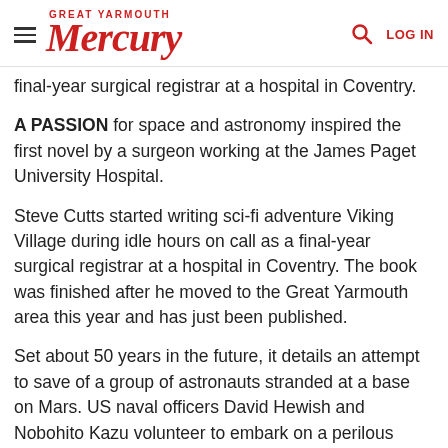Great Yarmouth Mercury — LOG IN
final-year surgical registrar at a hospital in Coventry.
A PASSION for space and astronomy inspired the first novel by a surgeon working at the James Paget University Hospital.
Steve Cutts started writing sci-fi adventure Viking Village during idle hours on call as a final-year surgical registrar at a hospital in Coventry. The book was finished after he moved to the Great Yarmouth area this year and has just been published.
Set about 50 years in the future, it details an attempt to save of a group of astronauts stranded at a base on Mars. US naval officers David Hewish and Nobohito Kazu volunteer to embark on a perilous rescue mission.